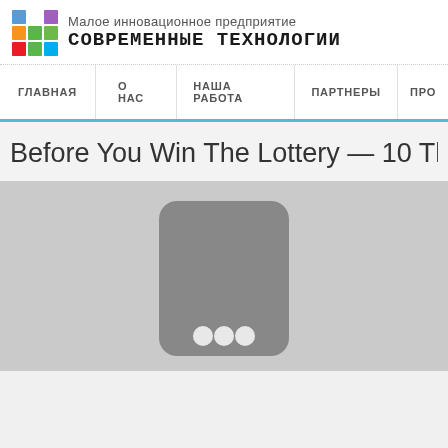Малое инновационное предприятие СОВРЕМЕННЫЕ ТЕХНОЛОГИИ
[Figure (screenshot): Navigation bar with menu items: ГЛАВНАЯ, О НАС, НАША РАБОТА, ПАРТНЕРЫ, ПРО...]
Before You Win The Lottery — 10 Thin
[Figure (photo): A gray rounded rectangle device icon resembling a phone or tablet with two circular dots/buttons at the bottom, on a light gray background]